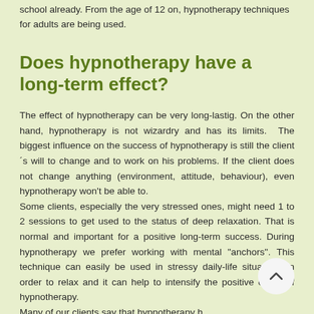school already. From the age of 12 on, hypnotherapy techniques for adults are being used.
Does hypnotherapy have a long-term effect?
The effect of hypnotherapy can be very long-lastig. On the other hand, hypnotherapy is not wizardry and has its limits. The biggest influence on the success of hypnotherapy is still the client´s will to change and to work on his problems. If the client does not change anything (environment, attitude, behaviour), even hypnotherapy won't be able to.
Some clients, especially the very stressed ones, might need 1 to 2 sessions to get used to the status of deep relaxation. That is normal and important for a positive long-term success. During hypnotherapy we prefer working with mental "anchors". This technique can easily be used in stressy daily-life situations in order to relax and it can help to intensify the positive e f hypnotherapy.
Many of our clients say that hypnotherapy h